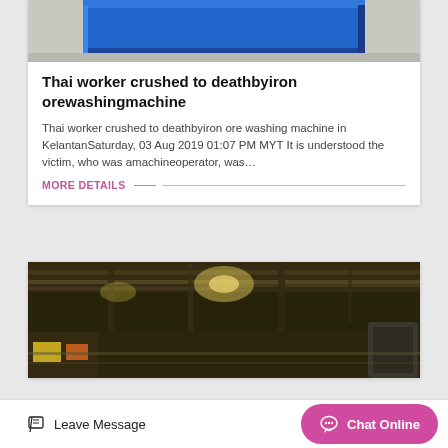[Figure (photo): Top portion of blue metal machine/equipment on grey floor, partially cropped]
Thai worker crushed to deathbyiron orewashingmachine
Thai worker crushed to deathbyiron ore washing machine in KelantanSaturday, 03 Aug 2019 01:07 PM MYT It is understood the victim, who was amachineoperator, was…
MORE DETAILS
[Figure (photo): Industrial warehouse interior with pipes, ceiling infrastructure, shelving and equipment in HDR style]
Leave Message
Chat Online